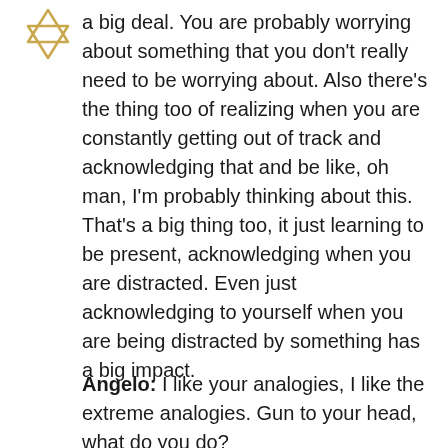[Figure (illustration): A gold/tan geometric star icon consisting of two overlapping triangles (one pointing up, one pointing down) forming a hexagram or Star of David shape, with a horizontal line through the middle creating a diamond-like faceted appearance.]
a big deal. You are probably worrying about something that you don't really need to be worrying about. Also there's the thing too of realizing when you are constantly getting out of track and acknowledging that and be like, oh man, I'm probably thinking about this. That's a big thing too, it just learning to be present, acknowledging when you are distracted. Even just acknowledging to yourself when you are being distracted by something has a big impact.
Angelo: I like your analogies, I like the extreme analogies. Gun to your head, what do you do?